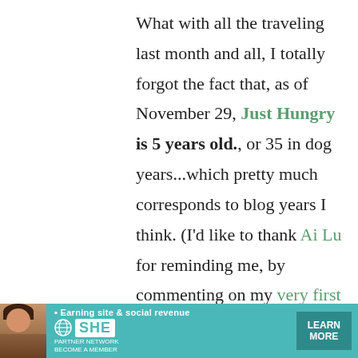What with all the traveling last month and all, I totally forgot the fact that, as of November 29, Just Hungry is 5 years old., or 35 in dog years...which pretty much corresponds to blog years I think. (I'd like to thank Ai Lu for reminding me, by commenting on my very first post!)

Back when I started, I was pretty
[Figure (other): Advertisement banner for SHE Partner Network. Teal/turquoise background with a woman's photo on left, text '• Earning site & social revenue', SHE logo, 'PARTNER NETWORK BECOME A MEMBER', and a 'LEARN MORE' button. An X close button appears in upper right of the ad.]